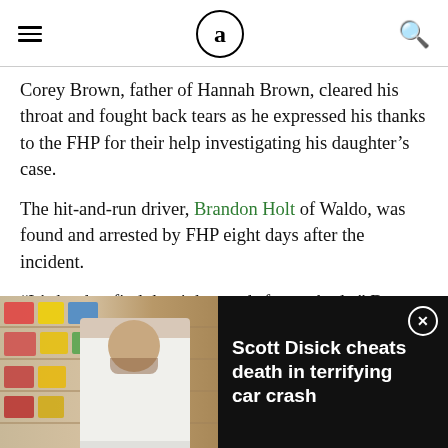aol news header with hamburger menu, aol logo, and search icon
Corey Brown, father of Hannah Brown, cleared his throat and fought back tears as he expressed his thanks to the FHP for their help investigating his daughter’s case.
The hit-and-run driver, Brandon Holt of Waldo, was found and arrested by FHP eight days after the incident.
“It’s hard to find the right words for anybody,” Brown said. “I’m lost and a lot of people are lost.”
[Figure (photo): Advertisement banner at bottom: photo of a man in white hoodie standing in a store with shelves, next to text 'Scott Disick cheats death in terrifying car crash' on black background with close button]